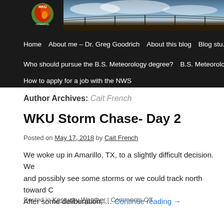[Figure (screenshot): WKU Meteorology blog header with logo (red/green swirl bird logo with 'WKU meteorology' text) on black background, with a sky/landscape photo strip to the right]
Home | About me – Dr. Greg Goodrich | About this blog | Blog stu... | Who should pursue the B.S. Meteorology degree? | B.S. Meteorology... | How to apply for a job with the NWS
Author Archives: Cait French
WKU Storm Chase- Day 2
Posted on May 17, 2018 by Cait French
We woke up in Amarillo, TX, to a slightly difficult decision. We and possibly see some storms or we could track north toward C After some deliberation, … Continue reading →
Posted in Kentucky Weather | Comments Off